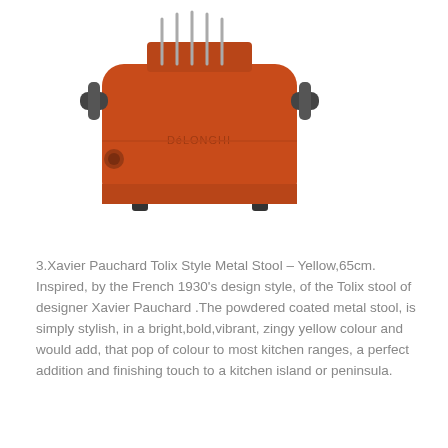[Figure (photo): Orange/rust colored modern toaster appliance with silver bread slots and black handles on white background]
3.Xavier Pauchard Tolix Style Metal Stool – Yellow,65cm. Inspired, by the French 1930's design style, of the Tolix stool of designer Xavier Pauchard .The powdered coated metal stool, is simply stylish, in a bright,bold,vibrant, zingy yellow colour and would add, that pop of colour to most kitchen ranges, a perfect addition and finishing touch to a kitchen island or peninsula.
[Figure (photo): Yellow metal bar stool in the style of the Xavier Pauchard Tolix design, shown on white background]